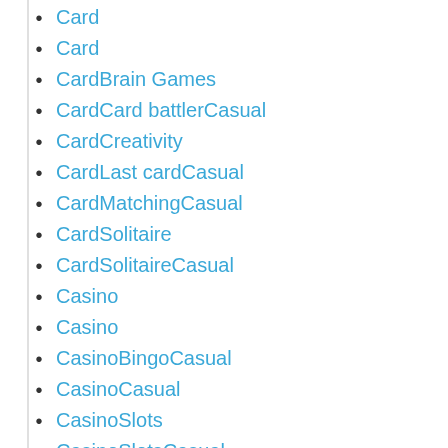Card
Card
CardBrain Games
CardCard battlerCasual
CardCreativity
CardLast cardCasual
CardMatchingCasual
CardSolitaire
CardSolitaireCasual
Casino
Casino
CasinoBingoCasual
CasinoCasual
CasinoSlots
CasinoSlotsCasual
CasinoTablePoker
CasinoTablePokerCasual
CasinoTableTeen pattiCasual